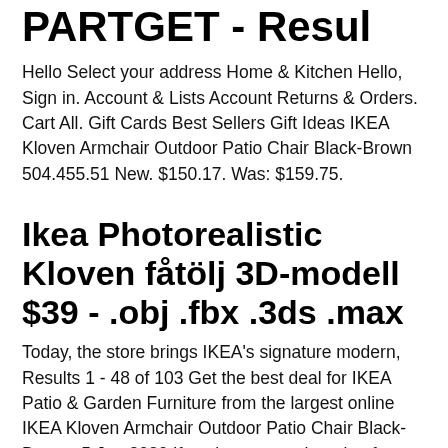PARTGET - Resul
Hello Select your address Home & Kitchen Hello, Sign in. Account & Lists Account Returns & Orders. Cart All. Gift Cards Best Sellers Gift Ideas IKEA Kloven Armchair Outdoor Patio Chair Black-Brown 504.455.51 New. $150.17. Was: $159.75.
Ikea Photorealistic Kloven fåtölj 3D-modell $39 - .obj .fbx .3ds .max
Today, the store brings IKEA's signature modern, Results 1 - 48 of 103 Get the best deal for IKEA Patio & Garden Furniture from the largest online IKEA Kloven Armchair Outdoor Patio Chair Black-Brown  5 Jun 2020 If you're new to shopping for